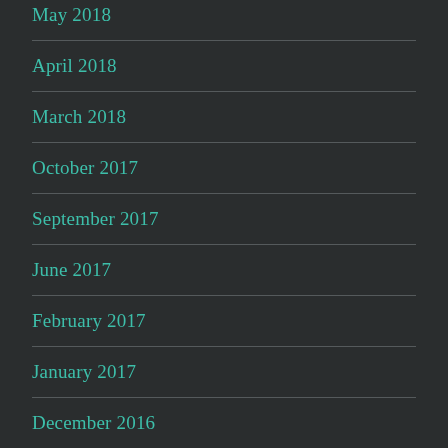May 2018
April 2018
March 2018
October 2017
September 2017
June 2017
February 2017
January 2017
December 2016